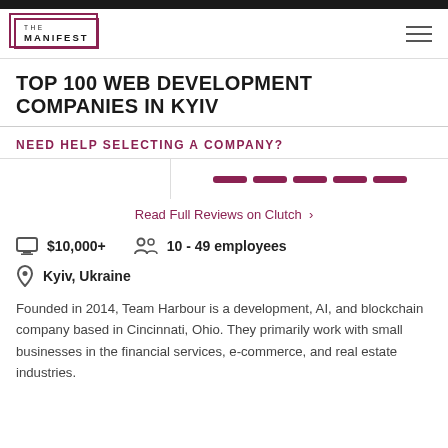THE MANIFEST
TOP 100 WEB DEVELOPMENT COMPANIES IN KYIV
NEED HELP SELECTING A COMPANY?
Read Full Reviews on Clutch >
$10,000+   10 - 49 employees
Kyiv, Ukraine
Founded in 2014, Team Harbour is a development, AI, and blockchain company based in Cincinnati, Ohio. They primarily work with small businesses in the financial services, e-commerce, and real estate industries.